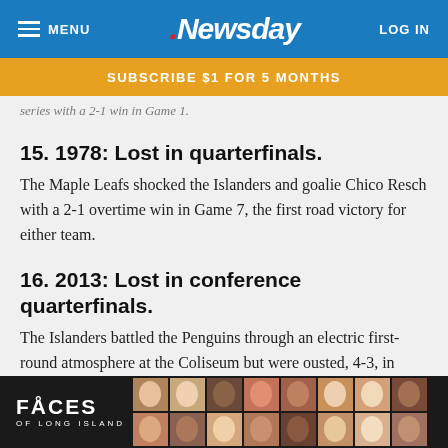MENU | Newsday | LOG IN
SUBSCRIBE $1 FOR 5 MONTHS
series with a 2-1 win in Game 1.
15. 1978: Lost in quarterfinals.
The Maple Leafs shocked the Islanders and goalie Chico Resch with a 2-1 overtime win in Game 7, the first road victory for either team.
16. 2013: Lost in conference quarterfinals.
The Islanders battled the Penguins through an electric first-round atmosphere at the Coliseum but were ousted, 4-3, in...
[Figure (photo): FACES OF LONG ISLAND advertisement overlay with a grid of headshot photos]